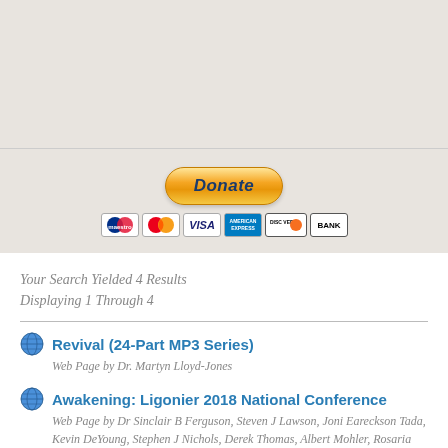[Figure (other): Donate button with PayPal styling and credit card icons (Maestro, MasterCard, Visa, Amex, Discover, Bank)]
Your Search Yielded 4 Results
Displaying 1 Through 4
Revival (24-Part MP3 Series) — Web Page by Dr. Martyn Lloyd-Jones
Awakening: Ligonier 2018 National Conference — Web Page by Dr Sinclair B Ferguson, Steven J Lawson, Joni Eareckson Tada, Kevin DeYoung, Stephen J Nichols, Derek Thomas, Albert Mohler, Rosaria Butterfield, Burk Parsons
Movement (MP3 Series)